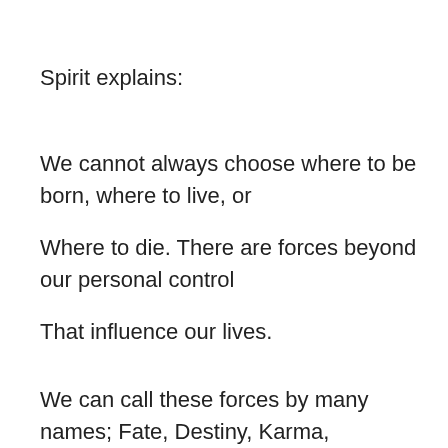Spirit explains:
We cannot always choose where to be born, where to live, or
Where to die. There are forces beyond our personal control
That influence our lives.
We can call these forces by many names; Fate, Destiny, Karma,